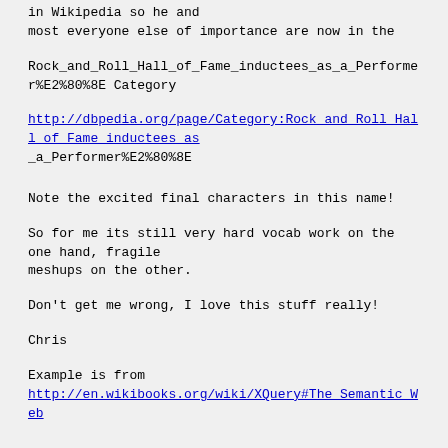in Wikipedia so he and
most everyone else of importance are now in the
Rock_and_Roll_Hall_of_Fame_inductees_as_a_Performer%E2%80%8E Category
http://dbpedia.org/page/Category:Rock and Roll Hall of Fame inductees as _a_Performer%E2%80%8E
Note the excited final characters in this name!
So for me its still very hard vocab work on the one hand, fragile
meshups on the other.
Don't get me wrong, I love this stuff really!
Chris
Example is from
http://en.wikibooks.org/wiki/XQuery#The_Semantic_Web
This email was independently scanned for viruses
by McAfee anti-virus software and none were found